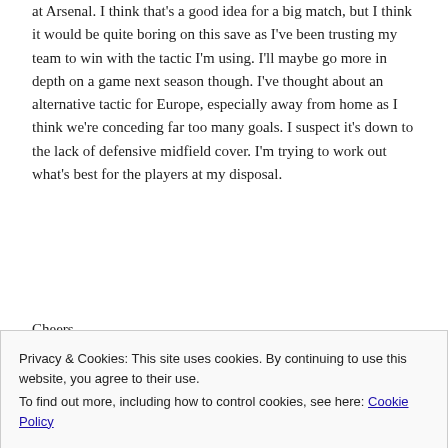at Arsenal. I think that's a good idea for a big match, but I think it would be quite boring on this save as I've been trusting my team to win with the tactic I'm using. I'll maybe go more in depth on a game next season though. I've thought about an alternative tactic for Europe, especially away from home as I think we're conceding far too many goals. I suspect it's down to the lack of defensive midfield cover. I'm trying to work out what's best for the players at my disposal.
Cheers
Privacy & Cookies: This site uses cookies. By continuing to use this website, you agree to their use.
To find out more, including how to control cookies, see here: Cookie Policy
Close and accept
Your email address will not be published. Required fields are